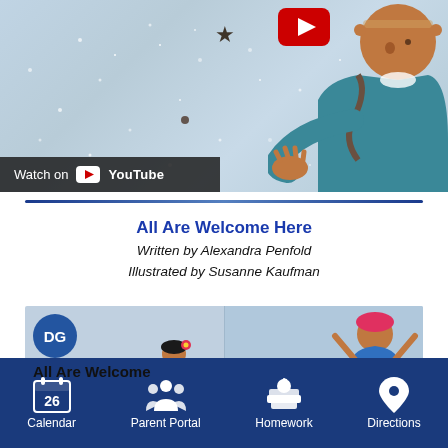[Figure (screenshot): YouTube video thumbnail showing an illustrated character in teal clothing reaching out, with a glittery background, a star, a YouTube play button, and a 'Watch on YouTube' overlay bar at the bottom left.]
All Are Welcome Here
Written by Alexandra Penfold
Illustrated by Susanne Kaufman
[Figure (screenshot): Second YouTube video thumbnail for 'All Are Welcome' showing a DG channel icon circle, illustrated children characters with maracas on the left panel, and another character on the right panel.]
[Figure (infographic): Bottom navigation bar with dark blue background containing four icons and labels: Calendar (showing 26), Parent Portal (group of people), Homework (books with apple), Directions (location pin).]